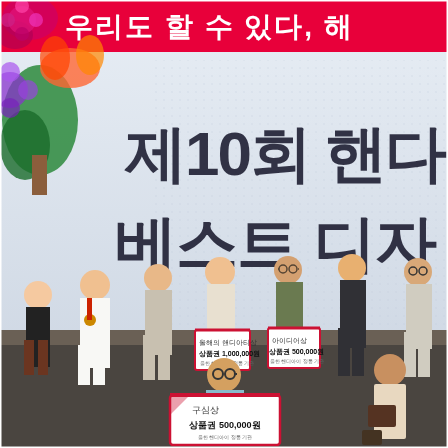[Figure (photo): A group photo at an awards ceremony in Korea. In the background is a large screen displaying Korean text '제10회 핸디' and '베스트 디자' (10th Handy Best Design award). A red banner at the top reads '우리도 할 수 있다, 해' in white Korean text. Several women and one man are posing together. Some are holding award certificates with Korean text: '올해의 핸디아티상 상품권 1,000,000원', '아이디어상 상품권 500,000원', and '구심상 상품권 500,000원'. The man in front is kneeling and holding the '구심상' award certificate.]